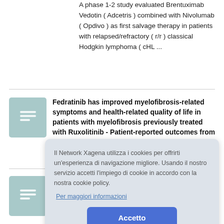A phase 1-2 study evaluated Brentuximab Vedotin ( Adcetris ) combined with Nivolumab ( Opdivo ) as first salvage therapy in patients with relapsed/refractory ( r/r ) classical Hodgkin lymphoma ( cHL ...
Fedratinib has improved myelofibrosis-related symptoms and health-related quality of life in patients with myelofibrosis previously treated with Ruxolitinib - Patient-reported outcomes from JAKARTA2 Trial
Il Network Xagena utilizza i cookies per offrirti un'esperienza di navigazione migliore. Usando il nostro servizio accetti l'impiego di cookie in accordo con la nostra cookie policy.
Per maggiori informazioni
Accetto
protein-associated protein 1 ( LRPAP1 ) had been